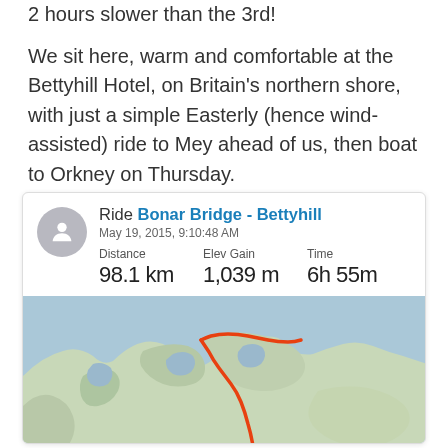2 hours slower than the 3rd!
We sit here, warm and comfortable at the Bettyhill Hotel, on Britain's northern shore, with just a simple Easterly (hence wind-assisted) ride to Mey ahead of us, then boat to Orkney on Thursday.
[Figure (infographic): Strava-style ride card showing 'Ride Bonar Bridge - Bettyhill', May 19, 2015, 9:10:48 AM, Distance 98.1 km, Elev Gain 1,039 m, Time 6h 55m, with a map showing a route along the northern Scottish coast rendered in orange on a topo/terrain map.]